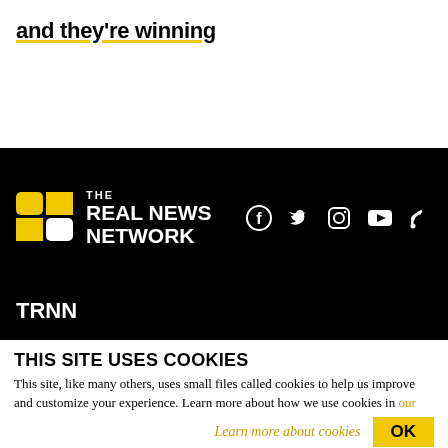and they're winning
[Figure (logo): The Real News Network logo: yellow grid icon on left, white bold text 'THE REAL NEWS NETWORK' on right, social media icons (Facebook, Twitter, Instagram, YouTube, RSS) on far right, all on black background]
TRNN
About The Real News Network
Our Team
THIS SITE USES COOKIES
This site, like many others, uses small files called cookies to help us improve and customize your experience. Learn more about how we use cookies in our cookie policy.
Learn more about cookies   OK